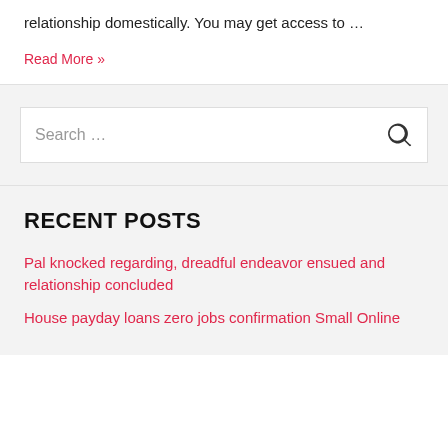relationship domestically. You may get access to …
Read More »
Search …
RECENT POSTS
Pal knocked regarding, dreadful endeavor ensued and relationship concluded
House payday loans zero jobs confirmation Small Online